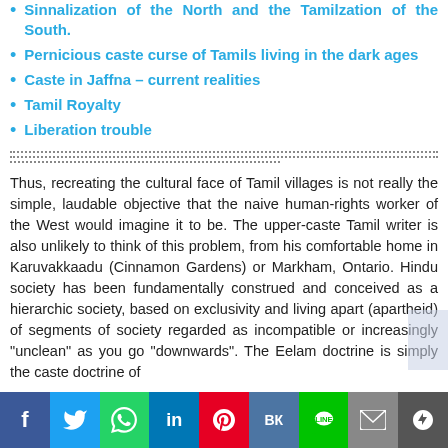Sinnalization of the North and the Tamilzation of the South.
Pernicious caste curse of Tamils living in the dark ages
Caste in Jaffna – current realities
Tamil Royalty
Liberation trouble
Thus, recreating the cultural face of Tamil villages is not really the simple, laudable objective that the naive human-rights worker of the West would imagine it to be. The upper-caste Tamil writer is also unlikely to think of this problem, from his comfortable home in Karuvakkaadu (Cinnamon Gardens) or Markham, Ontario. Hindu society has been fundamentally construed and conceived as a hierarchic society, based on exclusivity and living apart (apartheid) of segments of society regarded as incompatible or increasingly "unclean" as you go "downwards". The Eelam doctrine is simply the caste doctrine of